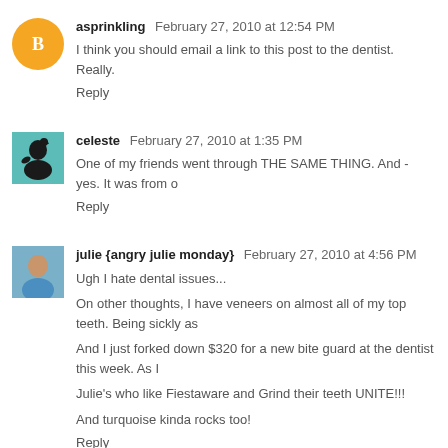[Figure (illustration): Orange circular blogger avatar with white B logo]
asprinkling  February 27, 2010 at 12:54 PM
I think you should email a link to this post to the dentist. Really.
Reply
[Figure (illustration): Teal square avatar with silhouette of person]
celeste  February 27, 2010 at 1:35 PM
One of my friends went through THE SAME THING. And - yes. It was from o
Reply
[Figure (photo): Photo of julie, person in blue tank top]
julie {angry julie monday}  February 27, 2010 at 4:56 PM
Ugh I hate dental issues...
On other thoughts, I have veneers on almost all of my top teeth. Being sickly as
And I just forked down $320 for a new bite guard at the dentist this week. As I
Julie's who like Fiestaware and Grind their teeth UNITE!!!
And turquoise kinda rocks too!
Reply